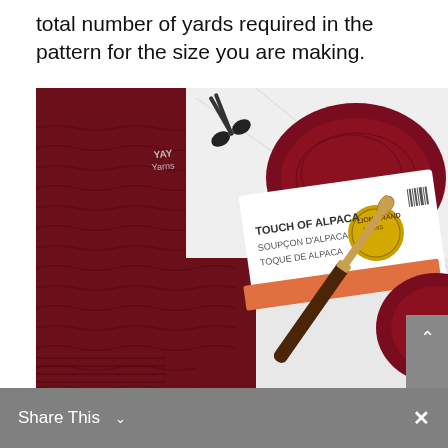total number of yards required in the pattern for the size you are making.
[Figure (photo): A flat lay photograph showing a dark crimson/burgundy crochet sweater or blanket in progress, two skeins of Lion Brand Touch of Alpaca yarn, a pair of black scissors, and a wooden crochet hook with gold tip, all on a white marble surface.]
Share This  ×